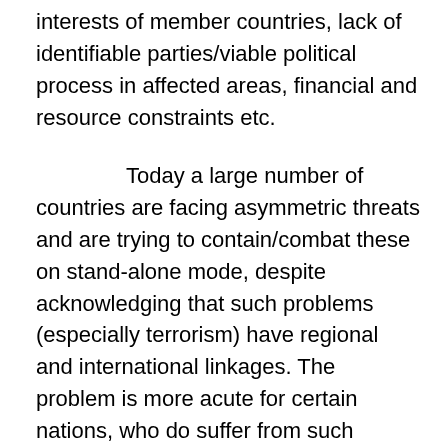interests of member countries, lack of identifiable parties/viable political process in affected areas, financial and resource constraints etc.
Today a large number of countries are facing asymmetric threats and are trying to contain/combat these on stand-alone mode, despite acknowledging that such problems (especially terrorism) have regional and international linkages. The problem is more acute for certain nations, who do suffer from such problems, but do not have adequate resources and instruments of state power to fight the same. Thus, there is a need for the UN to take initiative and convince the member states to formulate a global strategy to fight these threats and concerns, which would entail political and diplomatic actions, and enhancing the scope of peacekeeping operations to include stronger and wider mandate